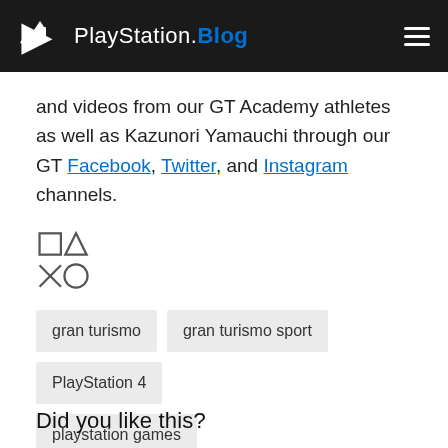PlayStation.Blog
and videos from our GT Academy athletes as well as Kazunori Yamauchi through our GT Facebook, Twitter, and Instagram channels.
[Figure (illustration): PlayStation controller button symbols: square, triangle, cross, circle arranged in a 2x2 grid]
gran turismo
gran turismo sport
PlayStation 4
playstation games
Did you like this?